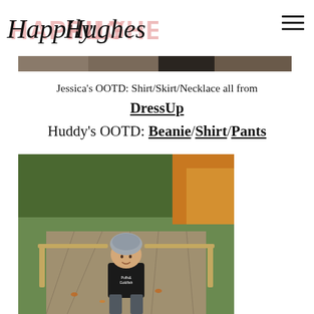Happily Hughes [logo]
[Figure (photo): Cropped banner photo showing a person on a wooden boardwalk with trees in the background]
Jessica's OOTD: Shirt/Skirt/Necklace all from DressUp
Huddy's OOTD: Beanie/Shirt/Pants
[Figure (photo): Photo of a young toddler wearing a grey beanie hat and black t-shirt, standing on a wooden boardwalk surrounded by autumn foliage]